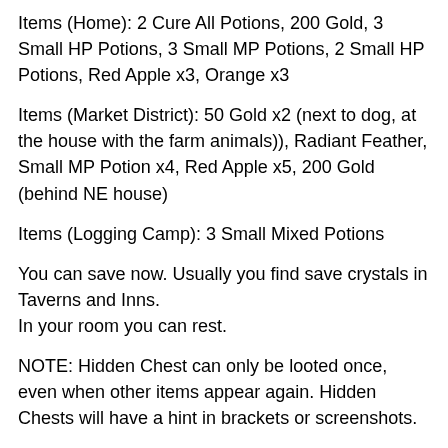Items (Home): 2 Cure All Potions, 200 Gold, 3 Small HP Potions, 3 Small MP Potions, 2 Small HP Potions, Red Apple x3, Orange x3
Items (Market District): 50 Gold x2 (next to dog, at the house with the farm animals)), Radiant Feather, Small MP Potion x4, Red Apple x5, 200 Gold (behind NE house)
Items (Logging Camp): 3 Small Mixed Potions
You can save now. Usually you find save crystals in Taverns and Inns.
In your room you can rest.
NOTE: Hidden Chest can only be looted once, even when other items appear again. Hidden Chests will have a hint in brackets or screenshots.
Meet Hank, the Travelling Merchant. You will meet him a lot. Get some better gear before you enter the western logging camp.